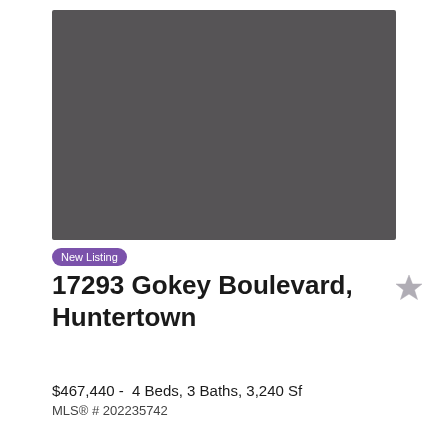[Figure (photo): Property listing photo placeholder — solid dark gray rectangle representing a property image]
New Listing
17293 Gokey Boulevard, Huntertown
$467,440 -  4 Beds, 3 Baths, 3,240 Sf
MLS® # 202235742